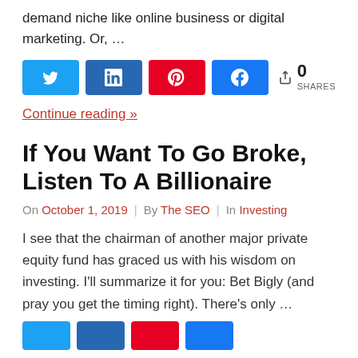demand niche like online business or digital marketing. Or, …
[Figure (infographic): Social share buttons: Twitter (blue), LinkedIn (dark blue), Pinterest (red), Facebook (blue), and a share count showing 0 SHARES]
Continue reading »
If You Want To Go Broke, Listen To A Billionaire
On October 1, 2019 | By The SEO | In Investing
I see that the chairman of another major private equity fund has graced us with his wisdom on investing. I'll summarize it for you: Bet Bigly (and pray you get the timing right). There's only …
[Figure (infographic): Social share buttons row at bottom: Twitter (blue), LinkedIn (dark blue), Pinterest (red), Facebook (blue)]